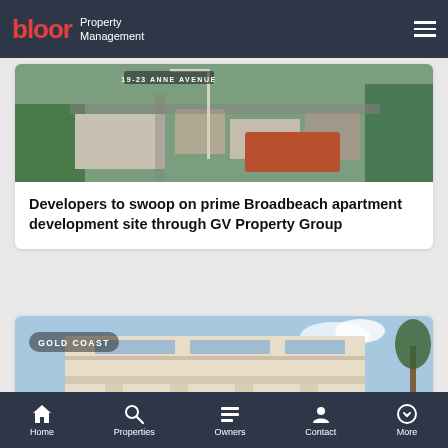bloor Property Management
[Figure (photo): Aerial view of a development site at 19-23 Anne Avenue]
Developers to swoop on prime Broadbeach apartment development site through GV Property Group
[Figure (photo): Modern apartment building render with GOLD COAST badge]
Home  Properties  Owners  Contact  More